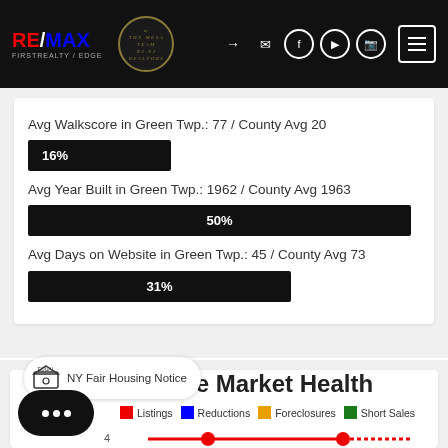[Figure (screenshot): RE/MAX First Realty Edge and The Mesa Team navigation bar with social media icons and hamburger menu]
Avg Walkscore in Green Twp.: 77 / County Avg 20
[Figure (bar-chart): Avg Walkscore percentage bar]
Avg Year Built in Green Twp.: 1962 / County Avg 1963
[Figure (bar-chart): Avg Year Built percentage bar]
Avg Days on Website in Green Twp.: 45 / County Avg 73
[Figure (bar-chart): Avg Days on Website percentage bar]
NY Fair Housing Notice
...tate Market Health
Listings   Reductions   Foreclosures   Short Sales
4